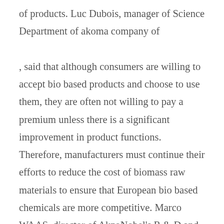of products. Luc Dubois, manager of Science Department of akoma company of , said that although consumers are willing to accept bio based products and choose to use them, they are often not willing to pay a premium unless there is a significant improvement in product functions. Therefore, manufacturers must continue their efforts to reduce the cost of biomass raw materials to ensure that European bio based chemicals are more competitive. Marco WAAS, director of AkzoNobel's R & D and Technology Department of industrial chemicals, believes that the key is to improve investor confidence. After building confidence, more projects will be invested, and then market expansion may be